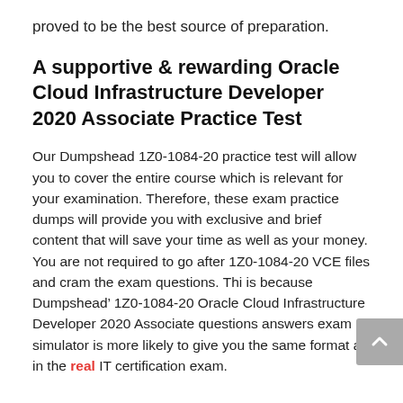proved to be the best source of preparation.
A supportive & rewarding Oracle Cloud Infrastructure Developer 2020 Associate Practice Test
Our Dumpshead 1Z0-1084-20 practice test will allow you to cover the entire course which is relevant for your examination. Therefore, these exam practice dumps will provide you with exclusive and brief content that will save your time as well as your money. You are not required to go after 1Z0-1084-20 VCE files and cram the exam questions. Thi is because Dumpshead’ 1Z0-1084-20 Oracle Cloud Infrastructure Developer 2020 Associate questions answers exam simulator is more likely to give you the same format as in the real IT certification exam.